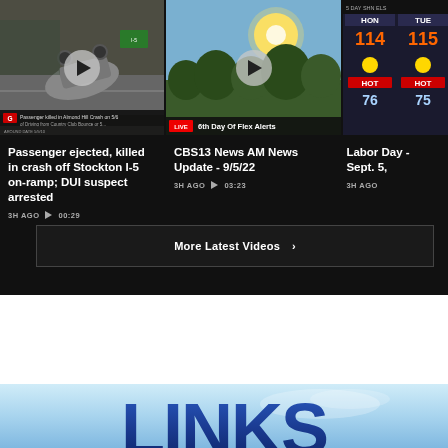[Figure (screenshot): Video thumbnail: overturned car crash scene on highway with news chyron overlay]
[Figure (screenshot): Video thumbnail: outdoor scene with sun and trees, Flex Alert news bar overlay]
[Figure (screenshot): Video thumbnail: weather forecast showing HON 114/76 and TUE 115/75]
Passenger ejected, killed in crash off Stockton I-5 on-ramp; DUI suspect arrested
3H AGO  ► 00:29
CBS13 News AM News Update - 9/5/22
3H AGO  ► 03:23
Labor Day - Sept. 5,
3H AGO
More Latest Videos ›
[Figure (screenshot): LINKS banner with blue gradient background showing large blue bold LINKS text]